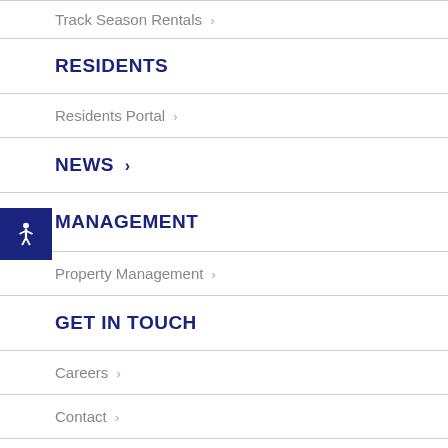Track Season Rentals ›
RESIDENTS
Residents Portal ›
NEWS ›
MANAGEMENT
Property Management ›
GET IN TOUCH
Careers ›
Contact ›
POLICIES